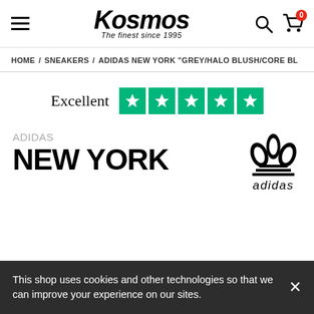Kosmos – The finest since 1995
HOME / SNEAKERS / ADIDAS NEW YORK "GREY/HALO BLUSH/CORE BL
[Figure (infographic): Trustpilot rating: Excellent with 5 green star boxes]
ADIDAS
NEW YORK
[Figure (logo): Adidas trefoil logo with adidas wordmark]
This shop uses cookies and other technologies so that we can improve your experience on our sites.